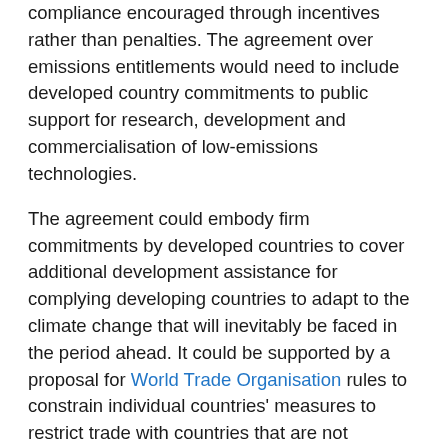compliance encouraged through incentives rather than penalties. The agreement over emissions entitlements would need to include developed country commitments to public support for research, development and commercialisation of low-emissions technologies.
The agreement could embody firm commitments by developed countries to cover additional development assistance for complying developing countries to adapt to the climate change that will inevitably be faced in the period ahead. It could be supported by a proposal for World Trade Organisation rules to constrain individual countries' measures to restrict trade with countries that are not reasonably complying with the requirements of an international mitigation effort. At the centre of the agreement would be an understanding on the allocation across countries of a diminishing total of annual emissions entitlements. These would be allocated on the basis that emissions would converge towards equal per capita entitlements at some time in the future.
The difference between the basis of allocation of emissions entitlements and the If at some early of first